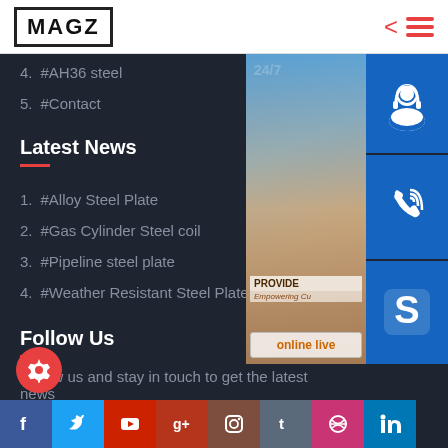MAGZ
4. #AH36 steel
5. #Contact
Latest News
1. #Alloy Steel Plate
2. #Gas Cylinder Steel coil
3. #Pipeline steel plate
4. #Weather Resistant Steel Plate
Follow Us
Follow us and stay in touch to get the latest news
[Figure (infographic): Contact sidebar with 24/7 support image, headset phone icon, Skype icon, and online live button, plus social media icon row including Facebook, Twitter, YouTube, Google+, Instagram, Tumblr, Dribbble, LinkedIn]